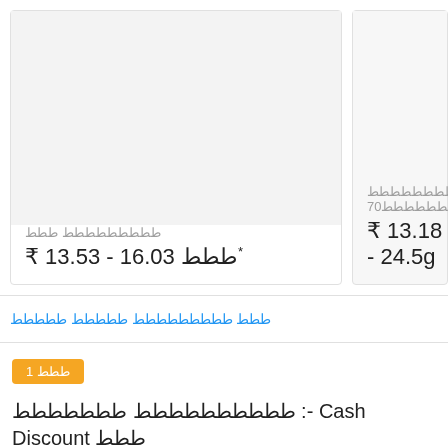ططططططططط ططط
₹ 13.53 - 16.03 ططط*
ططططططططط طططططططط70
₹ 13.18 - 24.58
ططط ططططططططط ططططط ططططط
1 ططط
طططططططططط ططططططط :- Cash Discount ططط to … ططط
please check availability with ط ططططط